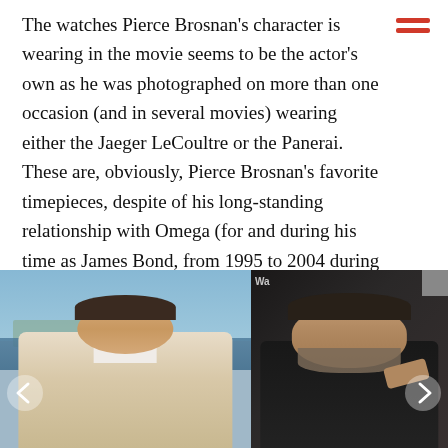The watches Pierce Brosnan's character is wearing in the movie seems to be the actor's own as he was photographed on more than one occasion (and in several movies) wearing either the Jaeger LeCoultre or the Panerai. These are, obviously, Pierce Brosnan's favorite timepieces, despite of his long-standing relationship with Omega (for and during his time as James Bond, from 1995 to 2004 during which period he played the legendary Spy 007 four times).
[Figure (photo): Two side-by-side photos of Pierce Brosnan. Left photo shows him smiling outdoors near water, wearing a light-colored suit. Right photo shows him with beard, in a dark jacket, looking thoughtful. Navigation arrows visible on left and right sides.]